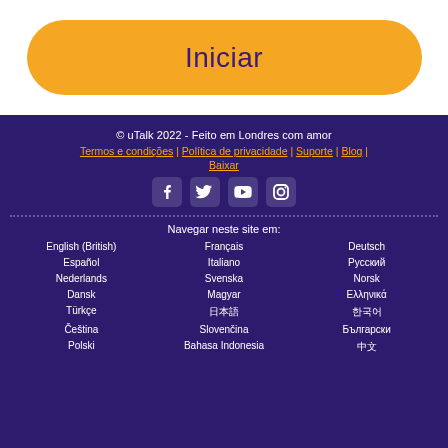Iniciar
© uTalk 2022 - Feito em Londres com amor
Termos e condições | Política de privacidade | Suporte | Blog | Baixar
[Figure (illustration): Social media icons: Facebook, Twitter, YouTube, Instagram]
Navegar neste site em:
English (British)
Français
Deutsch
Español
Italiano
Русский
Nederlands
Svenska
Norsk
Dansk
Magyar
Ελληνικά
Türkçe
日本語
한국어
Čeština
Slovenčina
Български
Polski
Bahasa Indonesia
中文